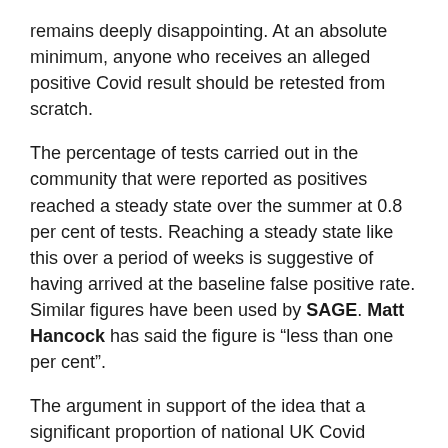remains deeply disappointing. At an absolute minimum, anyone who receives an alleged positive Covid result should be retested from scratch.
The percentage of tests carried out in the community that were reported as positives reached a steady state over the summer at 0.8 per cent of tests. Reaching a steady state like this over a period of weeks is suggestive of having arrived at the baseline false positive rate. Similar figures have been used by SAGE. Matt Hancock has said the figure is “less than one per cent”.
The argument in support of the idea that a significant proportion of national UK Covid diagnoses in July and August 2020 were actually due to false positives is provided in a separate blog post. This paper addresses the narrower issue of alleged outbreaks in care homes.